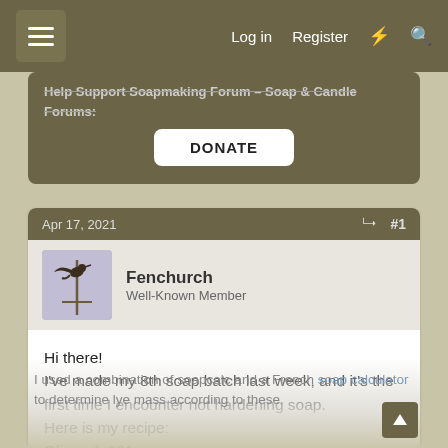Log in  Register
Help Support Soapmaking Forum – Soap & Candle Forums:
DONATE
Apr 17, 2021  #1
Fenchurch
Well-Known Member
Hi there!
I've made my 8th soap batch last week, and it's the first time I encounter not hardening soap.
Here is my recipe:
Olive oil: 601g
Coconut oil: 300g
Hazelnut oil: 100g
I used a combination of soapcalc and a French soap calculator to determine lye mass according to these